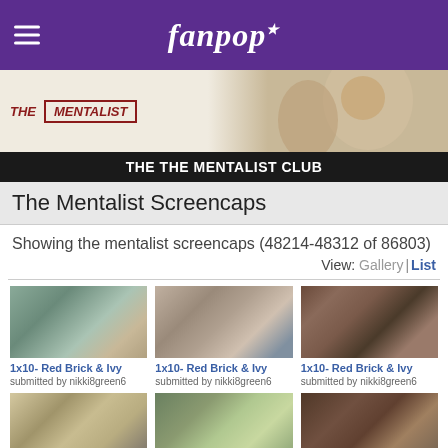fanpop
[Figure (screenshot): The Mentalist TV show banner with logo and cast photo]
THE THE MENTALIST CLUB
The Mentalist Screencaps
Showing the mentalist screencaps (48214-48312 of 86803)
View: Gallery | List
[Figure (photo): 1x10- Red Brick & Ivy screencap, submitted by nikki8green6]
[Figure (photo): 1x10- Red Brick & Ivy screencap, submitted by nikki8green6]
[Figure (photo): 1x10- Red Brick & Ivy screencap, submitted by nikki8green6]
[Figure (photo): 1x10- Red Brick & Ivy screencap, submitted by nikki8green6]
[Figure (photo): 1x10- Red Brick & Ivy screencap, submitted by nikki8green6]
[Figure (photo): 1x10- Red Brick & Ivy screencap, submitted by nikki8green6]
[Figure (photo): 1x10- Red Brick & Ivy screencap (partial), submitted by nikki8green6]
[Figure (photo): 1x10- Red Brick & Ivy screencap (partial), submitted by nikki8green6]
[Figure (photo): 1x10- Red Brick & Ivy screencap (partial), submitted by nikki8green6]